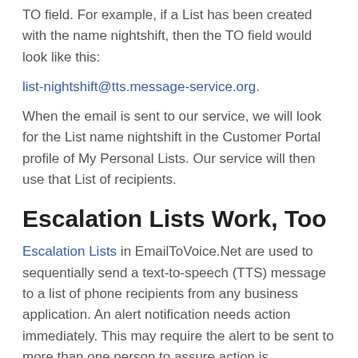TO field. For example, if a List has been created with the name nightshift, then the TO field would look like this:
list-nightshift@tts.message-service.org.
When the email is sent to our service, we will look for the List name nightshift in the Customer Portal profile of My Personal Lists. Our service will then use that List of recipients.
Escalation Lists Work, Too
Escalation Lists in EmailToVoice.Net are used to sequentially send a text-to-speech (TTS) message to a list of phone recipients from any business application. An alert notification needs action immediately. This may require the alert to be sent to more than one person to assure action is